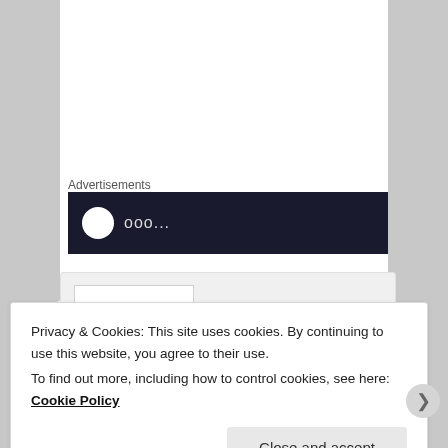Advertisements
[Figure (screenshot): Dark advertisement banner with white circle logo and partial text on dark navy background]
[Figure (illustration): Comment avatar showing a tree illustration (sobrietytree blog avatar)]
sobrietytree on May 2, 2020 at 6:50 pm said:
“Sober as a bitten fingernail” – wow. Brilliant. And the first breath that comes in history in The
Privacy & Cookies: This site uses cookies. By continuing to use this website, you agree to their use.
To find out more, including how to control cookies, see here: Cookie Policy
Close and accept